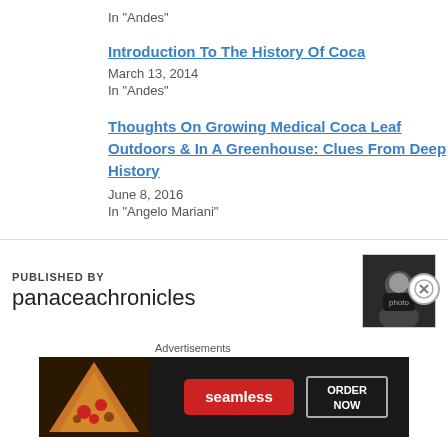In "Andes"
Introduction To The History Of Coca
March 13, 2014
In "Andes"
Thoughts On Growing Medical Coca Leaf Outdoors & In A Greenhouse: Clues From Deep History
June 8, 2016
In "Angelo Mariani"
PUBLISHED BY
panaceachronicles
[Figure (photo): Avatar/profile photo of panaceachronicles publisher]
Advertisements
[Figure (other): Seamless food delivery advertisement banner with pizza image, Seamless red logo, and ORDER NOW button]